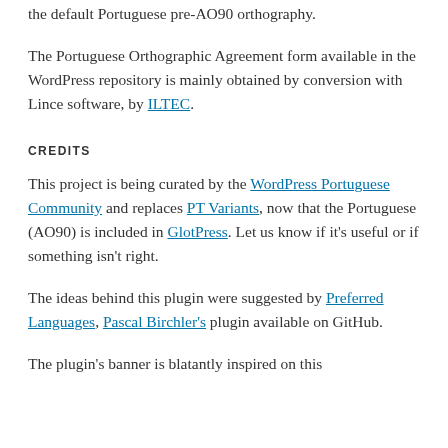the default Portuguese pre-AO90 orthography.
The Portuguese Orthographic Agreement form available in the WordPress repository is mainly obtained by conversion with Lince software, by ILTEC.
CREDITS
This project is being curated by the WordPress Portuguese Community and replaces PT Variants, now that the Portuguese (AO90) is included in GlotPress. Let us know if it’s useful or if something isn’t right.
The ideas behind this plugin were suggested by Preferred Languages, Pascal Birchler’s plugin available on GitHub.
The plugin’s banner is blatantly inspired on this